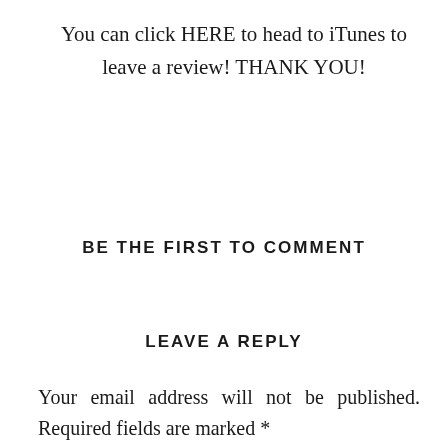You can click HERE to head to iTunes to leave a review! THANK YOU!
BE THE FIRST TO COMMENT
LEAVE A REPLY
Your email address will not be published. Required fields are marked *